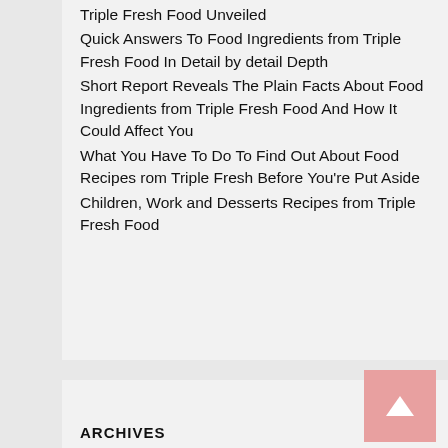Triple Fresh Food Unveiled
Quick Answers To Food Ingredients from Triple Fresh Food In Detail by detail Depth
Short Report Reveals The Plain Facts About Food Ingredients from Triple Fresh Food And How It Could Affect You
What You Have To Do To Find Out About Food Recipes rom Triple Fresh Before You're Put Aside
Children, Work and Desserts Recipes from Triple Fresh Food
ARCHIVES